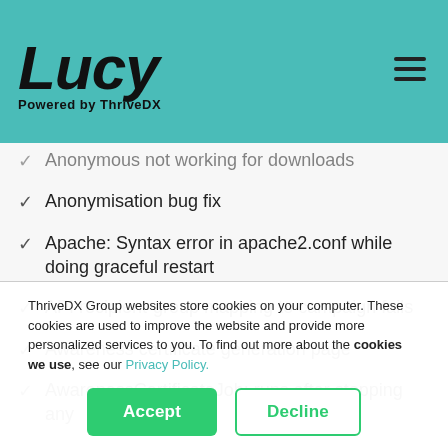[Figure (logo): Lucy logo powered by ThriveDX on teal header background with hamburger menu icon]
Anonymous not working for downloads
Anonymisation bug fix
Apache: Syntax error in apache2.conf while doing graceful restart
API recipient-group mapping to campaign fails
Awareness certificate generation page
AwarenessCertificateJob: runs after stopping any
ThriveDX Group websites store cookies on your computer. These cookies are used to improve the website and provide more personalized services to you. To find out more about the cookies we use, see our Privacy Policy.